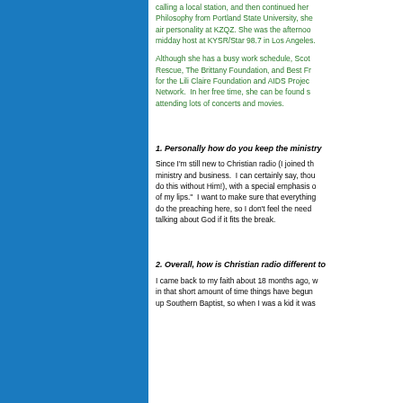calling a local station, and then continued her education in Philosophy from Portland State University, she became an on-air personality at KZQZ. She was the afternoon drive and midday host at KYSR/Star 98.7 in Los Angeles.
Although she has a busy work schedule, Scott volunteers for Rescue, The Brittany Foundation, and Best Friends. She works for the Lili Claire Foundation and AIDS Project Los Angeles Network. In her free time, she can be found surfing online, attending lots of concerts and movies.
1. Personally how do you keep the ministry
Since I'm still new to Christian radio (I joined th ministry and business. I can certainly say, thou do this without Him!), with a special emphasis o of my lips." I want to make sure that everything do the preaching here, so I don't feel the need talking about God if it fits the break.
2. Overall, how is Christian radio different to
I came back to my faith about 18 months ago, w in that short amount of time things have begun up Southern Baptist, so when I was a kid it was